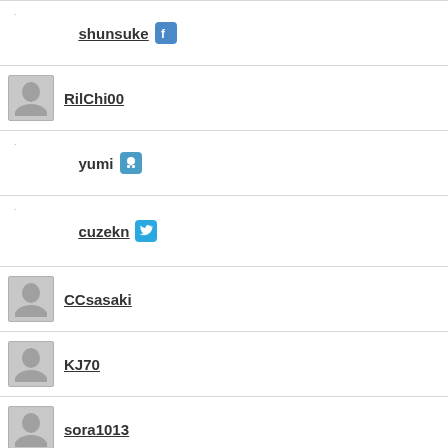shunsuke [facebook icon]
RilChi00
yumi [github icon]
cuzekn [twitter icon]
CCsasaki
KJ70
sora1013
yiping